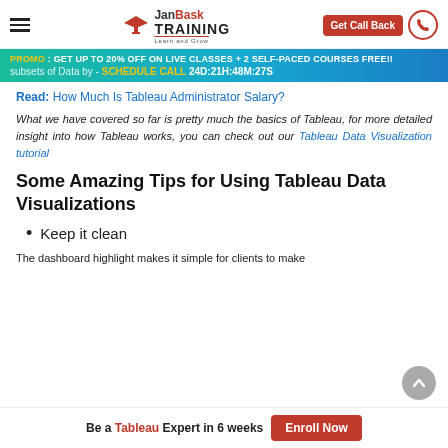JanBask TRAINING - Get Call Back
PROMO : GET UP TO 20% OFF ON LIVE CLASSES + 2 SELF-PACED COURSES FREE!! subsets of Data by - SCHEDULE CALL 24D:21H:48M:27S
Read: How Much Is Tableau Administrator Salary?
What we have covered so far is pretty much the basics of Tableau, for more detailed insight into how Tableau works, you can check out our Tableau Data Visualization tutorial
Some Amazing Tips for Using Tableau Data Visualizations
Keep it clean
The dashboard highlight makes it simple for clients to make
Be a Tableau Expert in 6 weeks  Enroll Now